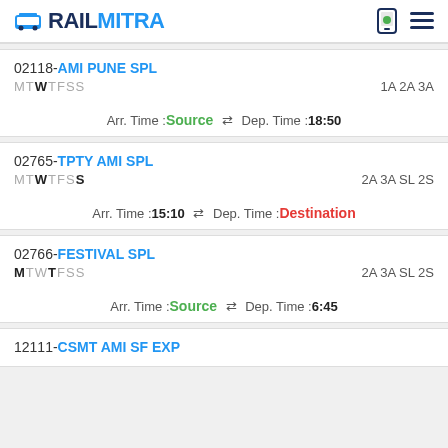RAILMITRA
02118-AMI PUNE SPL
MTWTFSS	1A 2A 3A
Arr. Time :Source ⇌ Dep. Time :18:50
02765-TPTY AMI SPL
MTWTFSS	2A 3A SL 2S
Arr. Time :15:10 ⇌ Dep. Time :Destination
02766-FESTIVAL SPL
MTWTFSS	2A 3A SL 2S
Arr. Time :Source ⇌ Dep. Time :6:45
12111-CSMT AMI SF EXP